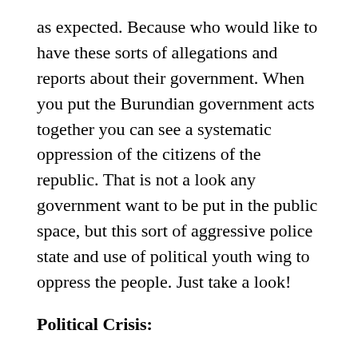as expected. Because who would like to have these sorts of allegations and reports about their government. When you put the Burundian government acts together you can see a systematic oppression of the citizens of the republic. That is not a look any government want to be put in the public space, but this sort of aggressive police state and use of political youth wing to oppress the people. Just take a look!
Political Crisis:
“Nearly two years have passed since the beginning of the political crisis in Burundi, which was sparked by the decision of the